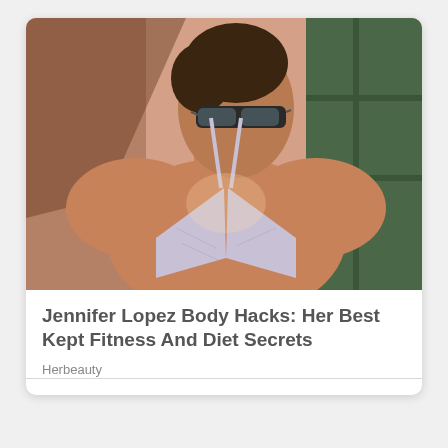[Figure (photo): Photo of a woman in a light purple/lavender strappy bikini top, wearing aviator sunglasses, head tilted back, standing against a peach-colored wall with a window visible on the right.]
Jennifer Lopez Body Hacks: Her Best Kept Fitness And Diet Secrets
Herbeauty